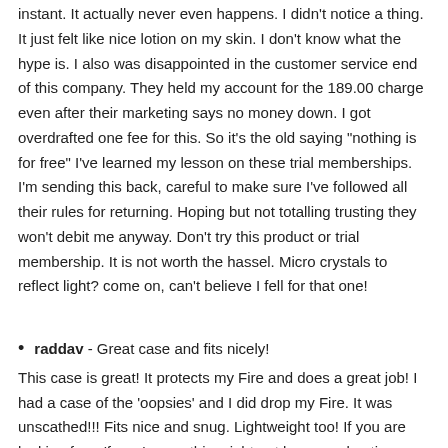instant. It actually never even happens. I didn't notice a thing. It just felt like nice lotion on my skin. I don't know what the hype is. I also was disappointed in the customer service end of this company. They held my account for the 189.00 charge even after their marketing says no money down. I got overdrafted one fee for this. So it's the old saying "nothing is for free" I've learned my lesson on these trial memberships. I'm sending this back, careful to make sure I've followed all their rules for returning. Hoping but not totalling trusting they won't debit me anyway. Don't try this product or trial membership. It is not worth the hassel. Micro crystals to reflect light? come on, can't believe I fell for that one!
raddav - Great case and fits nicely!
This case is great! It protects my Fire and does a great job! I had a case of the 'oopsies' and I did drop my Fire. It was unscathed!!! Fits nice and snug. Lightweight too! If you are looking for a 'fancy' case, this might not be a good option